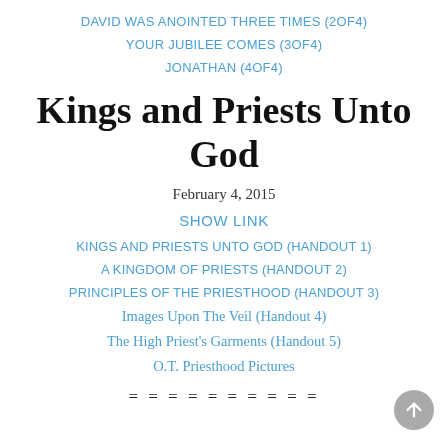DAVID WAS ANOINTED THREE TIMES (2of4)
YOUR JUBILEE COMES (3of4)
JONATHAN (4of4)
Kings and Priests Unto God
February 4, 2015
SHOW LINK
KINGS AND PRIESTS UNTO GOD (Handout 1)
A KINGDOM OF PRIESTS (Handout 2)
PRINCIPLES OF THE PRIESTHOOD (Handout 3)
Images Upon The Veil (Handout 4)
The High Priest's Garments (Handout 5)
O.T. Priesthood Pictures
= = = = = = = = = =